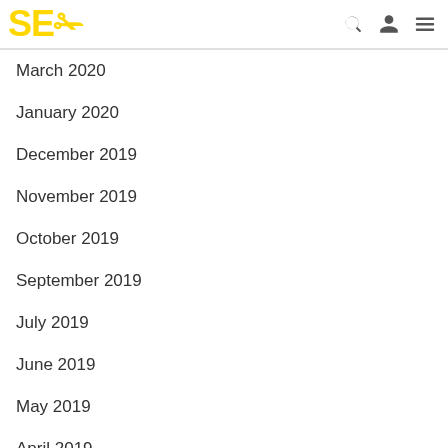SEO
March 2020
January 2020
December 2019
November 2019
October 2019
September 2019
July 2019
June 2019
May 2019
April 2019
March 2019